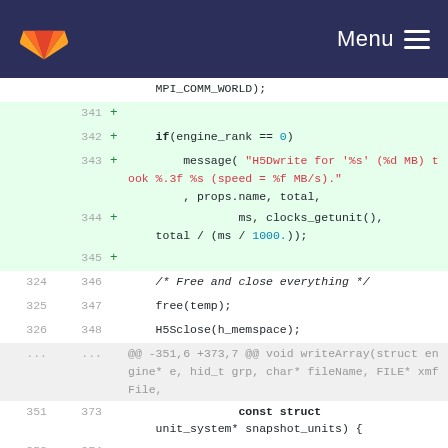[Figure (screenshot): GitLab navigation bar with fox logo and Menu button]
Code diff view showing changes to a C file with MPI and HDF5 code. Lines 341-345 are additions (green), lines 324-326/346-348 are context, followed by a hunk header and lines 351-353/373-375 showing const struct and size_t additions.